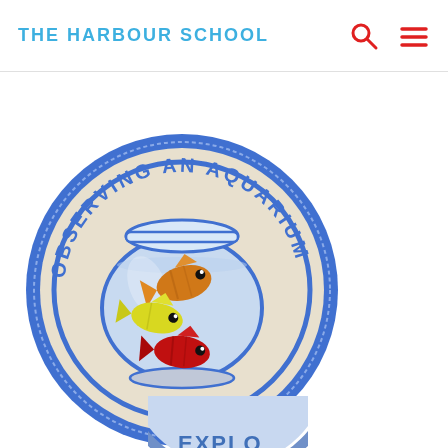THE HARBOUR SCHOOL
[Figure (illustration): Circular embroidered patch with blue border reading 'OBSERVING AN AQUARIUM' around the top, featuring a fish bowl with three fish inside: an orange fish at the top, a yellow fish at the middle-left, and a red fish at the bottom center.]
[Figure (illustration): Partial view of another circular badge at the bottom of the page, showing blue border and partial text 'EXPLO...' visible.]